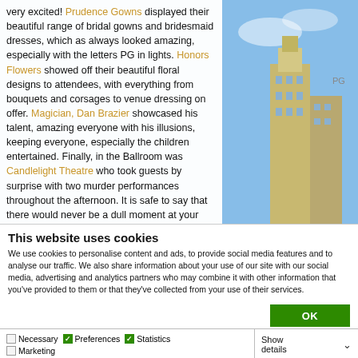very excited! Prudence Gowns displayed their beautiful range of bridal gowns and bridesmaid dresses, which as always looked amazing, especially with the letters PG in lights. Honors Flowers showed off their beautiful floral designs to attendees, with everything from bouquets and corsages to venue dressing on offer. Magician, Dan Brazier showcased his talent, amazing everyone with his illusions, keeping everyone, especially the children entertained. Finally, in the Ballroom was Candlelight Theatre who took guests by surprise with two murder performances throughout the afternoon. It is safe to say that there would never be a dull moment at your
This website uses cookies
We use cookies to personalise content and ads, to provide social media features and to analyse our traffic. We also share information about your use of our site with our social media, advertising and analytics partners who may combine it with other information that you've provided to them or that they've collected from your use of their services.